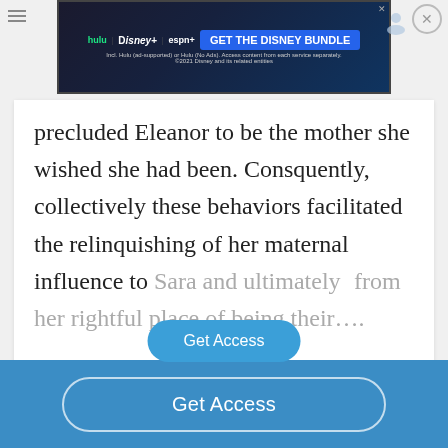[Figure (screenshot): Disney Bundle advertisement banner with Hulu, Disney+, ESPN+ logos and GET THE DISNEY BUNDLE call-to-action]
precluded Eleanor to be the mother she wished she had been. Consquently, collectively these behaviors facilitated the relinquishing of her maternal influence to Sara and ultimately... from her rightful place of being their....
[Figure (other): Get Access paywall overlay button]
[Figure (other): Bottom blue bar with Get Access button]